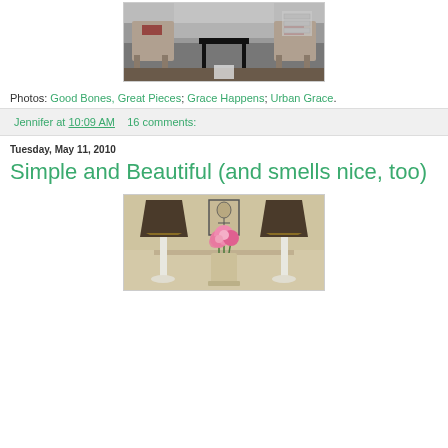[Figure (photo): Interior room photo showing two armchairs flanking a black desk/console table]
Photos: Good Bones, Great Pieces; Grace Happens; Urban Grace.
Jennifer at 10:09 AM   16 comments:
Tuesday, May 11, 2010
Simple and Beautiful (and smells nice, too)
[Figure (photo): Interior decor photo showing two lamps with dark shades on white bases, flanking a vase of pink peonies, with a face artwork above on the wall]